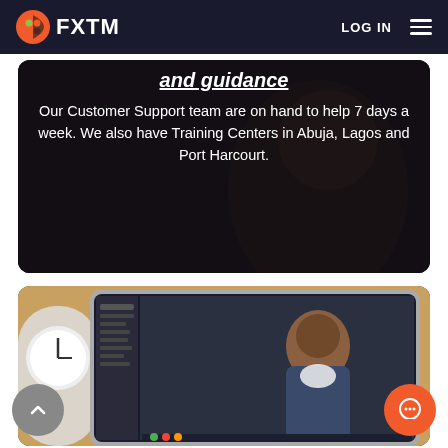FXTM — LOG IN
and guidance
Our Customer Support team are on hand to help 7 days a week. We also have Training Centers in Abuja, Lagos and Port Harcourt.
[Figure (photo): Screenshot of a video call on a tablet showing a man in a suit jacket, with a clock visible in the background on the left]
Market-to-business d...